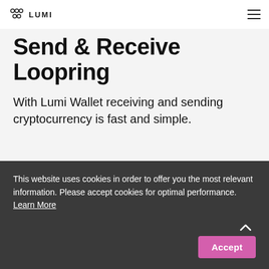LUMI
Send & Receive Loopring
With Lumi Wallet receiving and sending cryptocurrency is fast and simple.
This website uses cookies in order to offer you the most relevant information. Please accept cookies for optimal performance. Learn More